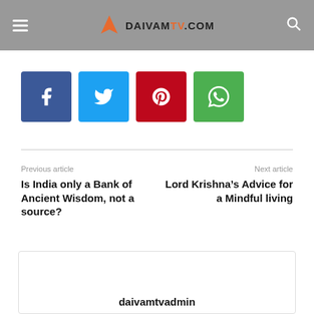DAIVAMTV.COM
[Figure (other): Social share buttons: Facebook, Twitter, Pinterest, WhatsApp]
Previous article
Is India only a Bank of Ancient Wisdom, not a source?
Next article
Lord Krishna’s Advice for a Mindful living
daivamtvadmin